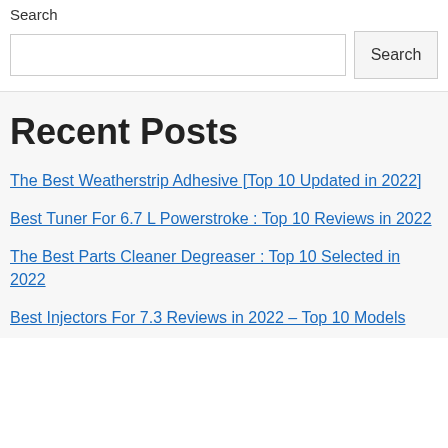Search
Search [input field] Search [button]
Recent Posts
The Best Weatherstrip Adhesive [Top 10 Updated in 2022]
Best Tuner For 6.7 L Powerstroke : Top 10 Reviews in 2022
The Best Parts Cleaner Degreaser : Top 10 Selected in 2022
Best Injectors For 7.3 Reviews in 2022 – Top 10 Models